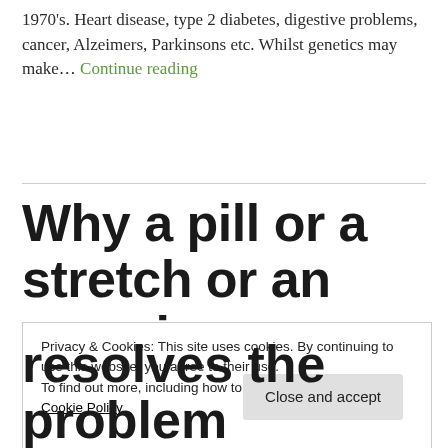1970's. Heart disease, type 2 diabetes, digestive problems, cancer, Alzeimers, Parkinsons etc. Whilst genetics may make… Continue reading
Why a pill or a stretch or an exercise
Privacy & Cookies: This site uses cookies. By continuing to use this website, you agree to their use.
To find out more, including how to control cookies, see here: Cookie Policy
Close and accept
resolves the problem